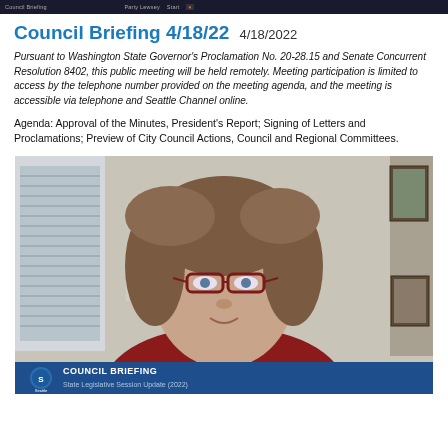Council Briefing 4/18/22  4/18/2022
Pursuant to Washington State Governor's Proclamation No. 20-28.15 and Senate Concurrent Resolution 8402, this public meeting will be held remotely. Meeting participation is limited to access by the telephone number provided on the meeting agenda, and the meeting is accessible via telephone and Seattle Channel online.
Agenda: Approval of the Minutes, President's Report; Signing of Letters and Proclamations; Preview of City Council Actions, Council and Regional Committees.
[Figure (photo): Video screenshot of a woman with shoulder-length brown hair and red-rimmed glasses, wearing a red top, speaking in a video call. Office setting visible behind her. Lower bar shows Seattle City Council Briefing branding with 'COUNCIL BRIEFING' and 'State Legislative Session Update (2022)' text.]